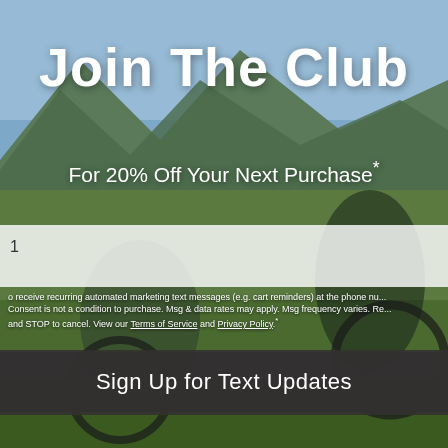[Figure (photo): Two mountain bikers riding through a grassy field with mountains and sky in the background.]
Join The Club
For 20% Off Your Next Purchase*
1
o receive recurring automated marketing text messages (e.g. cart reminders) at the phone nu... Consent is not a condition to purchase. Msg & data rates may apply. Msg frequency varies. Re... and STOP to cancel. View our Terms of Service and Privacy Policy.*
Sign Up for Text Updates